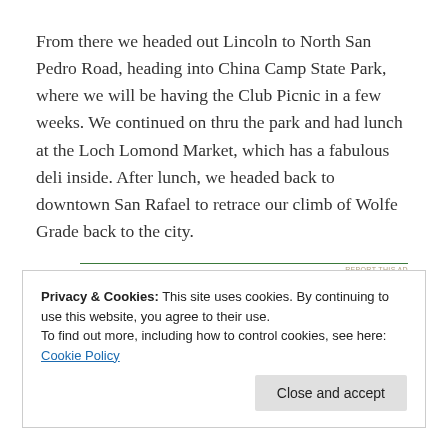From there we headed out Lincoln to North San Pedro Road, heading into China Camp State Park, where we will be having the Club Picnic in a few weeks. We continued on thru the park and had lunch at the Loch Lomond Market, which has a fabulous deli inside. After lunch, we headed back to downtown San Rafael to retrace our climb of Wolfe Grade back to the city.
Privacy & Cookies: This site uses cookies. By continuing to use this website, you agree to their use. To find out more, including how to control cookies, see here: Cookie Policy